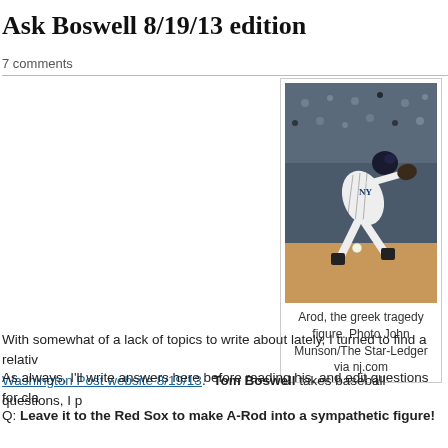Ask Boswell 8/19/13 edition
7 comments
[Figure (photo): Baseball player in New York Yankees pinstripe uniform diving or lunging for a ball on the field, with crowd in background.]
Arod, the greek tragedy figure. Photo John Munson/The Star-Ledger via nj.com
With somewhat of a lack of topics to write about lately, I turned to find a relativ Washington Post website 8/19/13. Tom Boswell takes baseball questions, I p
As always, I'll write answers here before reading his, and edit questions for cla
Q: Leave it to the Red Sox to make A-Rod into a sympathetic figure!